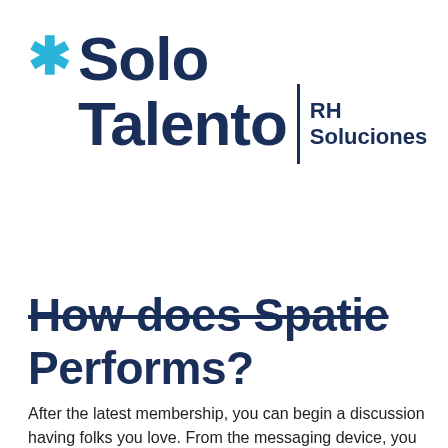[Figure (logo): Solo Talento RH Soluciones logo with cyan asterisk and dark navy text]
How does Spatie Performs?
After the latest membership, you can begin a discussion having folks you love. From the messaging device, you